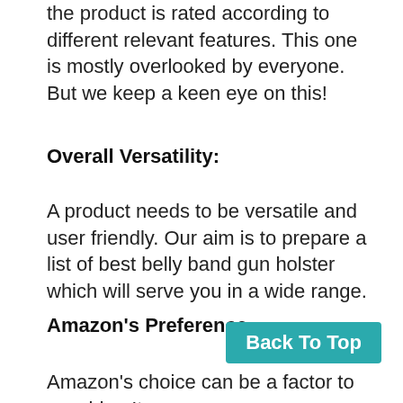the product is rated according to different relevant features. This one is mostly overlooked by everyone. But we keep a keen eye on this!
Overall Versatility:
A product needs to be versatile and user friendly. Our aim is to prepare a list of best belly band gun holster which will serve you in a wide range.
Amazon's Preference:
[Figure (other): Back To Top button (teal/green background, white bold text)]
Amazon's choice can be a factor to consider. It